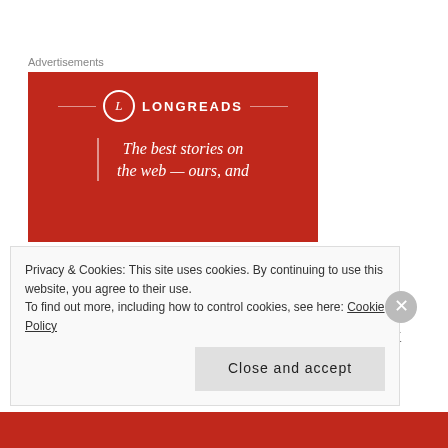Advertisements
[Figure (illustration): Longreads advertisement banner on red background with logo circle containing 'L', text 'LONGREADS', and tagline 'The best stories on the web — ours, and']
Now the lemons. Sous Chef G has this awesome, medieval citrus torture device, which is I think
Privacy & Cookies: This site uses cookies. By continuing to use this website, you agree to their use.
To find out more, including how to control cookies, see here: Cookie Policy
Close and accept